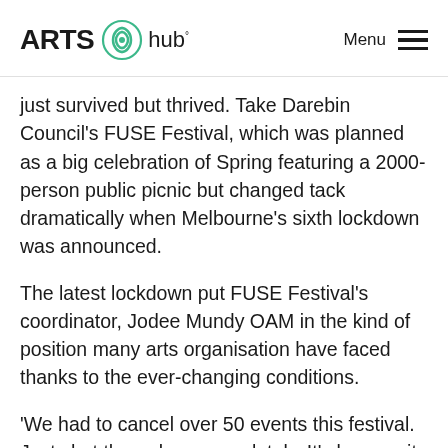ARTS hub Menu
just survived but thrived. Take Darebin Council's FUSE Festival, which was planned as a big celebration of Spring featuring a 2000-person public picnic but changed tack dramatically when Melbourne's sixth lockdown was announced.
The latest lockdown put FUSE Festival's coordinator, Jodee Mundy OAM in the kind of position many arts organisation have faced thanks to the ever-changing conditions.
'We had to cancel over 50 events this festival. Just shut them down completely. It's been quite heartbreaking. Our team have had to call every